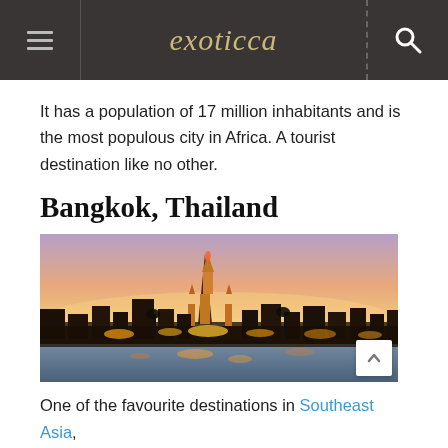exoticca
It has a population of 17 million inhabitants and is the most populous city in Africa. A tourist destination like no other.
Bangkok, Thailand
[Figure (photo): Bangkok skyline at sunset featuring Wat Arun temple illuminated with golden lights reflected in the Chao Phraya River, with a pink and purple sky.]
One of the favourite destinations in Southeast Asia,